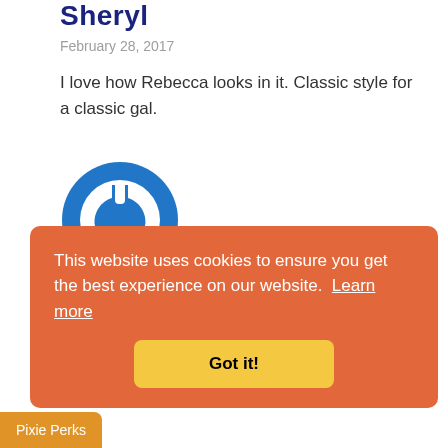Sheryl
February 28, 2017
I love how Rebecca looks in it. Classic style for a classic gal.
[Figure (logo): Blue circular avatar icon with a power/user symbol in white]
Cindy
February 28, 2017
This website uses cookies to ensure you get the best experience on our website.  Learn more
Got it!
Pixie Perks